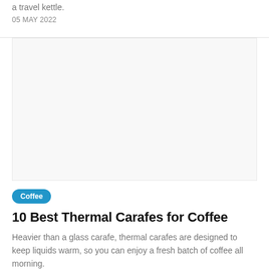a travel kettle.
05 MAY 2022
[Figure (photo): Blank/white image placeholder for an article card about thermal carafes for coffee]
Coffee
10 Best Thermal Carafes for Coffee
Heavier than a glass carafe, thermal carafes are designed to keep liquids warm, so you can enjoy a fresh batch of coffee all morning.